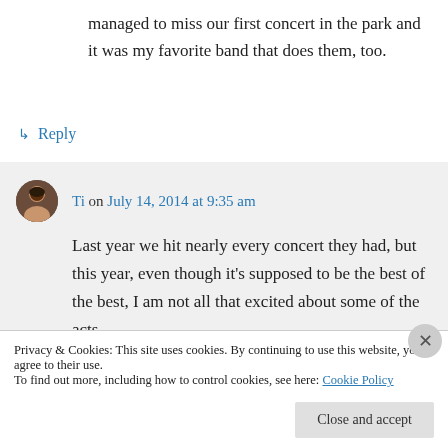managed to miss our first concert in the park and it was my favorite band that does them, too.
↳ Reply
Ti on July 14, 2014 at 9:35 am
Last year we hit nearly every concert they had, but this year, even though it's supposed to be the best of the best, I am not all that excited about some of the acts.
Privacy & Cookies: This site uses cookies. By continuing to use this website, you agree to their use.
To find out more, including how to control cookies, see here: Cookie Policy